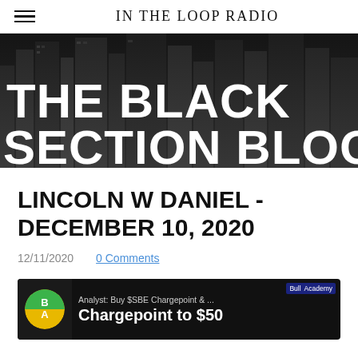IN THE LOOP RADIO
[Figure (photo): Black and white aerial cityscape photo of skyscrapers with large white bold text overlay reading 'THE BLACK SECTION BLOG']
LINCOLN W DANIEL - DECEMBER 10, 2020
12/11/2020    0 Comments
[Figure (screenshot): Embedded media preview with Bull Academy logo and text: Analyst: Buy $SBE Chargepoint & ... Chargepoint to $50]